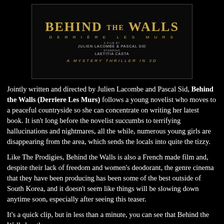[Figure (illustration): Movie poster for 'Behind the Walls (Derrière Les Murs)' - a mystery thriller in 3D, directed by Julien Lacombe and Pascal Sid, starring Laetitia Casta. Gold title text on dark background.]
Jointly written and directed by Julien Lacombe and Pascal Sid, Behind the Walls (Derriere Les Murs) follows a young novelist who moves to a peaceful countryside so she can concentrate on writing her latest book. It isn't long before the novelist succumbs to terrifying hallucinations and nightmares, all the while, numerous young girls are disappearing from the area, which sends the locals into quite the tizzy.
Like The Prodigies, Behind the Walls is also a French made film and, despite their lack of freedom and women's deodorant, the genre cinema that they have been producing has been some of the best outside of South Korea, and it doesn't seem like things will be slowing down anytime soon, especially after seeing this teaser.
It's a quick clip, but in less than a minute, you can see that Behind the Walls has the same...